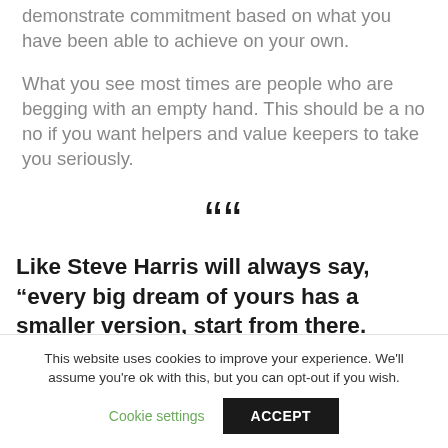demonstrate commitment based on what you have been able to achieve on your own.
What you see most times are people who are begging with an empty hand. This should be a no no if you want helpers and value keepers to take you seriously.
“Like Steve Harris will always say, “every big dream of yours has a smaller version, start from there.
This website uses cookies to improve your experience. We’ll assume you’re ok with this, but you can opt-out if you wish.
Cookie settings  ACCEPT